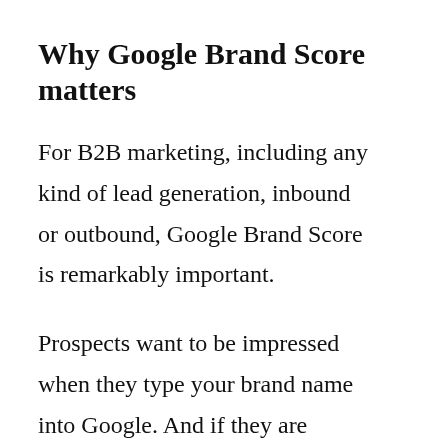Why Google Brand Score matters
For B2B marketing, including any kind of lead generation, inbound or outbound, Google Brand Score is remarkably important.
Prospects want to be impressed when they type your brand name into Google. And if they are making a significant investment in your services, whether you are a one-woman outfit or a 100-person agency, they will almost always type your name into Google.